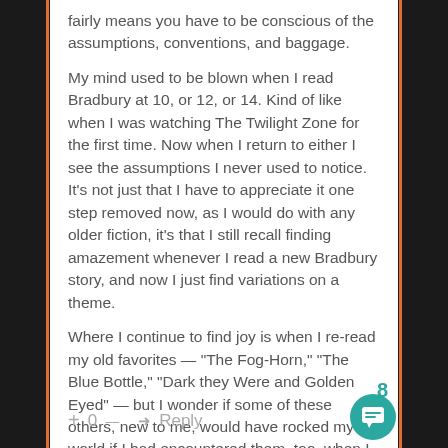fairly means you have to be conscious of the assumptions, conventions, and baggage.
My mind used to be blown when I read Bradbury at 10, or 12, or 14. Kind of like when I was watching The Twilight Zone for the first time. Now when I return to either I see the assumptions I never used to notice. It's not just that I have to appreciate it one step removed now, as I would do with any older fiction, it's that I still recall finding amazement whenever I read a new Bradbury story, and now I just find variations on a theme.
Where I continue to find joy is when I re-read my old favorites — “The Fog-Horn,” “The Blue Bottle,” “Dark they Were and Golden Eyed” — but I wonder if some of these others, new to me, would have rocked my world if I had encountered them, too, when I was younger.
+ 0 — → Reply